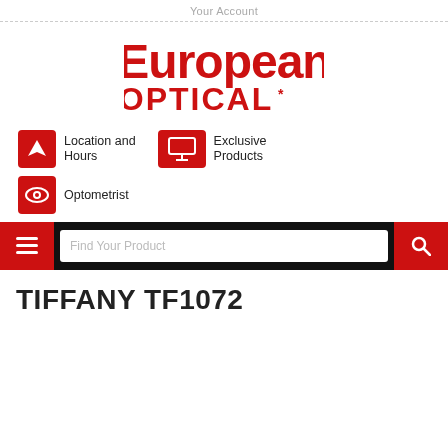Your Account
[Figure (logo): European Optical logo in red with bold 'European' text on top and 'OPTICAL' below]
Location and Hours
Optometrist
Exclusive Products
[Figure (screenshot): Black navigation bar with red hamburger menu button on left, white search box with 'Find Your Product' placeholder text, and red search/magnifier button on right]
TIFFANY TF1072